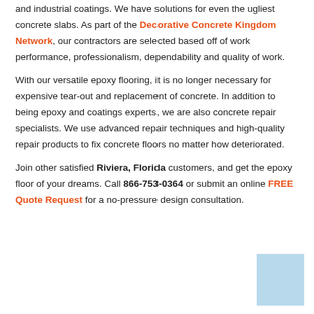and industrial coatings. We have solutions for even the ugliest concrete slabs. As part of the Decorative Concrete Kingdom Network, our contractors are selected based off of work performance, professionalism, dependability and quality of work.
With our versatile epoxy flooring, it is no longer necessary for expensive tear-out and replacement of concrete. In addition to being epoxy and coatings experts, we are also concrete repair specialists. We use advanced repair techniques and high-quality repair products to fix concrete floors no matter how deteriorated.
Join other satisfied Riviera, Florida customers, and get the epoxy floor of your dreams. Call 866-753-0364 or submit an online FREE Quote Request for a no-pressure design consultation.
[Figure (other): Light blue rectangle in the bottom-right corner of the page]